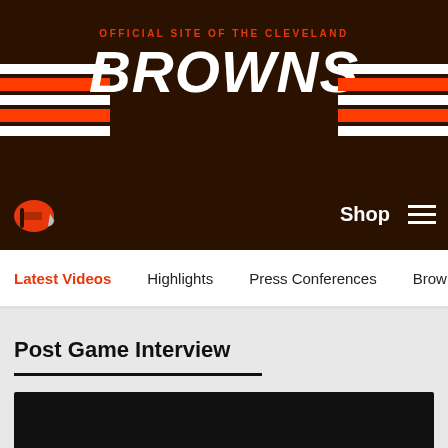[Figure (logo): Cleveland Browns official site header banner with team logo, stripes, and site name]
Official Site of the Cleveland Browns - Navigation bar with helmet logo, Shop link, and hamburger menu
Latest Videos
Highlights
Press Conferences
Browns Live
Me
Post Game Interview
[Figure (screenshot): Black video player thumbnail for Post Game Interview]